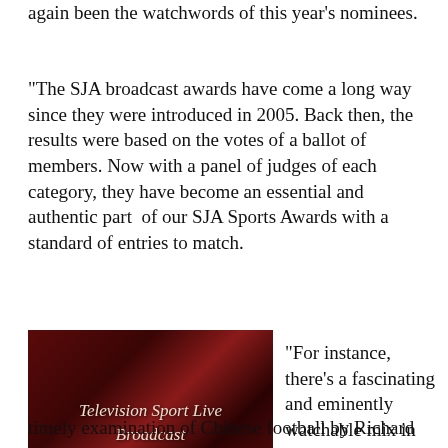again been the watchwords of this year's nominees.
“The SJA broadcast awards have come a long way since they were introduced in 2005. Back then, the results were based on the votes of a ballot of members. Now with a panel of judges of each category, they have become an essential and authentic part  of our SJA Sports Awards with a standard of entries to match.
[Figure (photo): Dark red/maroon background with white italic text reading 'Television Sport Live Broadcast']
“For instance, there’s a fascinating and eminently watchable mix in Factual Television, a timely examination of Chinese football by Richard G...